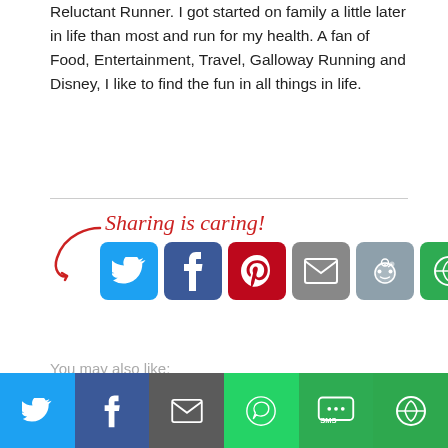Reluctant Runner. I got started on family a little later in life than most and run for my health. A fan of Food, Entertainment, Travel, Galloway Running and Disney, I like to find the fun in all things in life.
[Figure (infographic): Sharing is caring! social share buttons: Twitter (blue), Facebook (dark blue), Pinterest (red), Email (gray), Reddit (gray-blue), More (green), with a hand-drawn red arrow and cursive text]
You may also like:
[Figure (photo): A blurry/foggy photo thumbnail, grayish tones]
[Figure (photo): A white/blank thumbnail]
[Figure (infographic): Bottom sharing bar with Twitter, Facebook, Email, WhatsApp, SMS, More buttons]